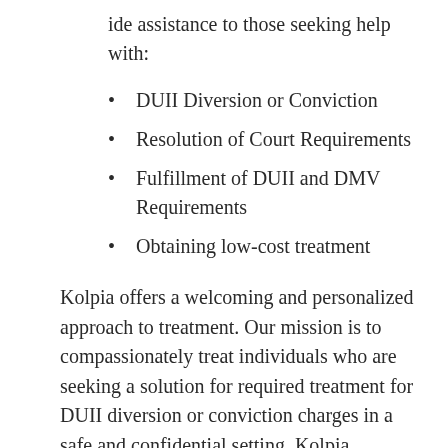ide assistance to those seeking help with:
DUII Diversion or Conviction
Resolution of Court Requirements
Fulfillment of DUII and DMV Requirements
Obtaining low-cost treatment
Kolpia offers a welcoming and personalized approach to treatment. Our mission is to compassionately treat individuals who are seeking a solution for required treatment for DUII diversion or conviction charges in a safe and confidential setting. Kolpia counselors aim to let our clients feel heard and appreciated without shame, guilt, or